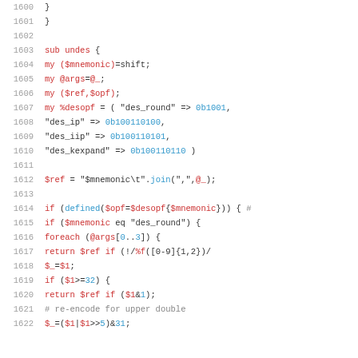Source code listing lines 1600-1622, Perl code for undes subroutine